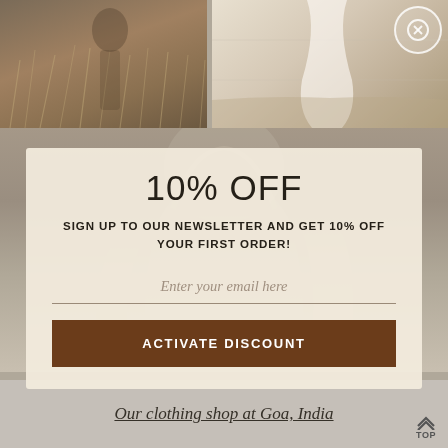[Figure (photo): Two lifestyle/fashion photos at top: left shows person in field with tall grasses, right shows draped white fabric/clothing against light wall background.]
[Figure (photo): Background photo of woman with long blonde hair, blurred, behind the popup modal.]
10% OFF
SIGN UP TO OUR NEWSLETTER AND GET 10% OFF YOUR FIRST ORDER!
Enter your email here
ACTIVATE DISCOUNT
Our clothing shop at Goa, India